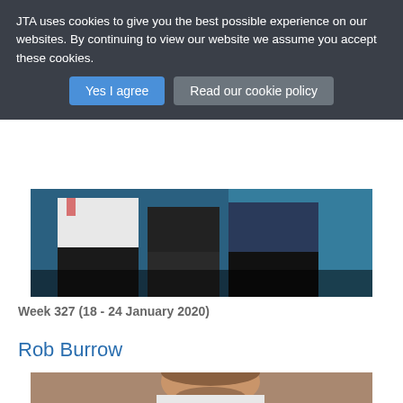JTA uses cookies to give you the best possible experience on our websites. By continuing to view our website we assume you accept these cookies.
[Figure (photo): Partial view of people standing, showing torsos and legs, with a blue background. One person wears a white top, another wears a black jacket, and a third wears a navy puffer jacket.]
Week 327 (18 - 24 January 2020)
Rob Burrow
[Figure (photo): Close-up photo of a man with short brown hair and a beard, looking to the side, with blurred red stadium seats in the background.]